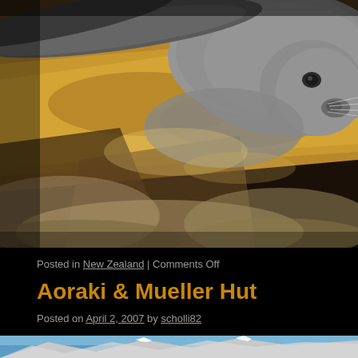[Figure (photo): Close-up photograph of a New Zealand fur seal resting on rocky terrain. The seal's face and whiskers are visible on the right side, with golden/tan rocky surfaces in the foreground and background.]
Posted in New Zealand | Comments Off
Aoraki & Mueller Hut
Posted on April 2, 2007 by scholli82
[Figure (photo): Partial view of a mountain landscape with snow-capped peaks against a blue sky, taken from an elevated vantage point.]